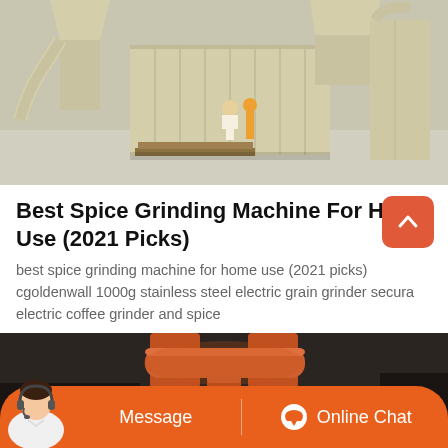[Figure (photo): Industrial spice grinding machine in a warehouse — large cream/beige colored equipment with hoppers, ducts, and processing units; two workers visible in background]
Best Spice Grinding Machine For Home Use (2021 Picks)
best spice grinding machine for home use (2021 picks) cgoldenwall 1000g stainless steel electric grain grinder secura electric coffee grinder and spice
[Figure (photo): Industrial orange/rust-colored pipe and cyclone separator machinery against a dark background]
[Figure (other): Chat bar with customer service avatar, Message button, and Online Chat button on orange background]